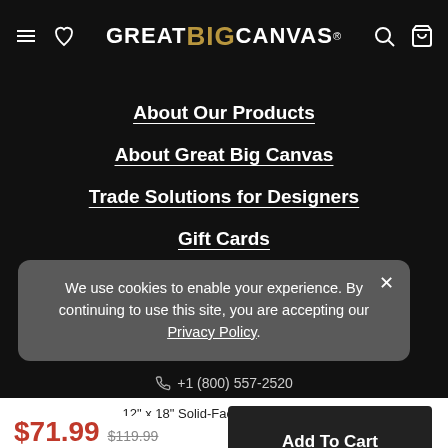GREAT BIG CANVAS
About Our Products
About Great Big Canvas
Trade Solutions for Designers
Gift Cards
We use cookies to enable your experience. By continuing to use this site, you are accepting our Privacy Policy.
+1 (800) 557-2520
12" x 18" Solid-Faced Canvas Print
$71.99 $119.99 40% OFF - Ends Soon!
Add To Cart